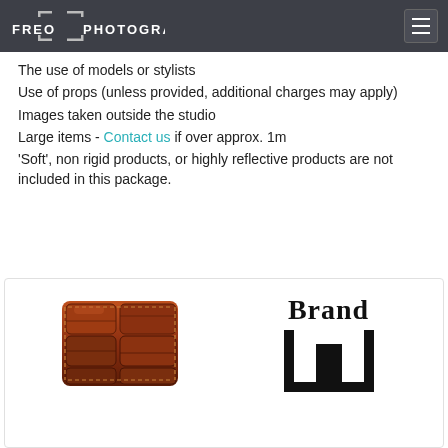FREOPHOTOGRAPHIC
The use of models or stylists
Use of props (unless provided, additional charges may apply)
Images taken outside the studio
Large items - Contact us if over approx. 1m
'Soft', non rigid products, or highly reflective products are not included in this package.
[Figure (photo): Photograph of a brown crocodile/alligator leather watch strap with stitching detail, and beside it a brand logo showing the text 'Brand' above a rectangular architectural frame symbol]